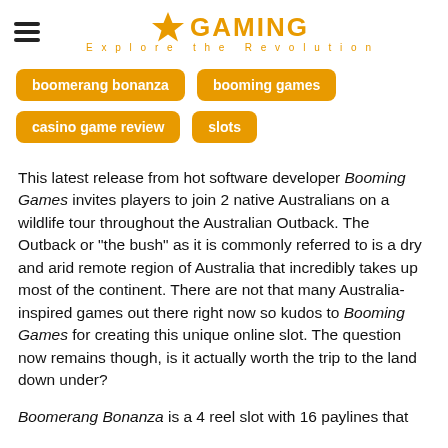GAMING Explore the Revolution
boomerang bonanza
booming games
casino game review
slots
This latest release from hot software developer Booming Games invites players to join 2 native Australians on a wildlife tour throughout the Australian Outback. The Outback or “the bush” as it is commonly referred to is a dry and arid remote region of Australia that incredibly takes up most of the continent. There are not that many Australia-inspired games out there right now so kudos to Booming Games for creating this unique online slot. The question now remains though, is it actually worth the trip to the land down under?
Boomerang Bonanza is a 4 reel slot with 16 paylines that